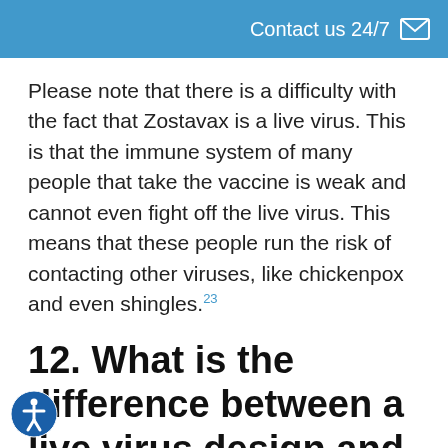Contact us 24/7
Please note that there is a difficulty with the fact that Zostavax is a live virus. This is that the immune system of many people that take the vaccine is weak and cannot even fight off the live virus. This means that these people run the risk of contacting other viruses, like chickenpox and even shingles.23
12. What is the difference between a live virus design and a recombinant design?